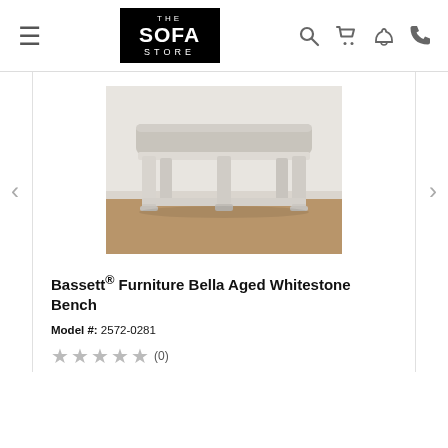THE SOFA STORE
[Figure (photo): Bassett Furniture Bella Aged Whitestone Bench — a rectangular upholstered bench with light gray fabric seat and whitewashed/aged wood legs and lower shelf stretcher, photographed against a white wall on a wood floor]
Bassett® Furniture Bella Aged Whitestone Bench
Model #: 2572-0281
★★★★★ (0)